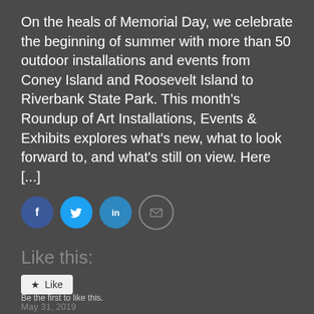On the heals of Memorial Day, we celebrate the beginning of summer with more than 50 outdoor installations and events from Coney Island and Roosevelt Island to Riverbank State Park. This month's Roundup of Art Installations, Events & Exhibits explores what's new, what to look forward to, and what's still on view. Here [...]
[Figure (infographic): Four social sharing icon buttons: Facebook (blue circle with f icon), Twitter (blue circle with bird icon), LinkedIn (teal circle with 'in' icon), Email (light circle with envelope icon)]
Like this:
[Figure (other): Like button widget with star icon and 'Like' text on light background]
Be the first to like this.
May 31, 2019